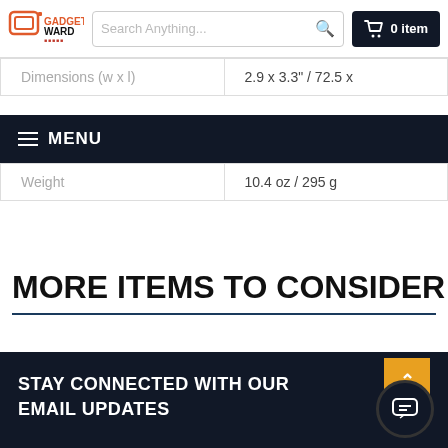Gadget Ward — Search Anything... 0 item
| Dimensions (w x l) | 2.9 x 3.3" / 72.5 x |
| Weight | 10.4 oz / 295 g |
MENU
MORE ITEMS TO CONSIDER
STAY CONNECTED WITH OUR EMAIL UPDATES